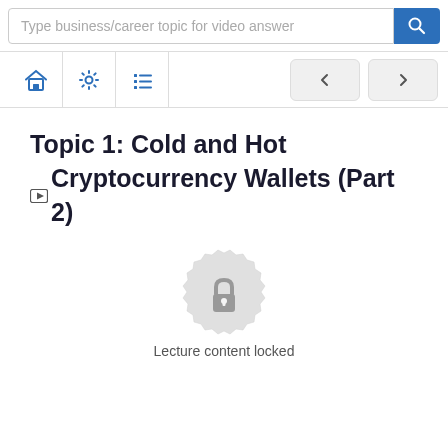[Figure (screenshot): Search bar with placeholder text 'Type business/career topic for video answer' and a blue search button]
[Figure (screenshot): Toolbar with home icon, settings/gear icon, list/menu icon, and two navigation arrow buttons]
Topic 1: Cold and Hot Cryptocurrency Wallets (Part 2)
[Figure (illustration): A grey gear/badge-shaped icon with a lock symbol in the center, indicating locked content]
Lecture content locked